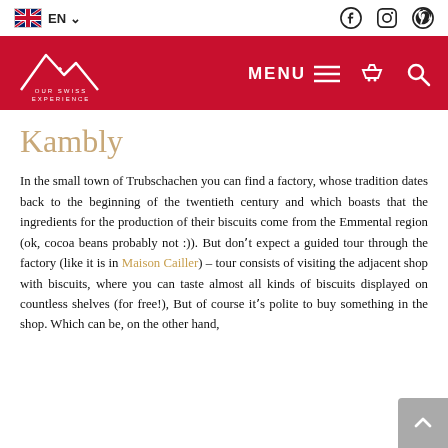EN  (flag icon, social icons: Facebook, Instagram, Pinterest)
[Figure (logo): Our Swiss Experience logo - white mountain outline on red background with text OUR SWISS EXPERIENCE, plus MENU hamburger icon, basket icon, search icon]
Kambly
In the small town of Trubschachen you can find a factory, whose tradition dates back to the beginning of the twentieth century and which boasts that the ingredients for the production of their biscuits come from the Emmental region (ok, cocoa beans probably not :)). But donʼt expect a guided tour through the factory (like it is in Maison Cailler) – tour consists of visiting the adjacent shop with biscuits, where you can taste almost all kinds of biscuits displayed on countless shelves (for free!), But of course itʼs polite to buy something in the shop. Which can be, on the other hand,